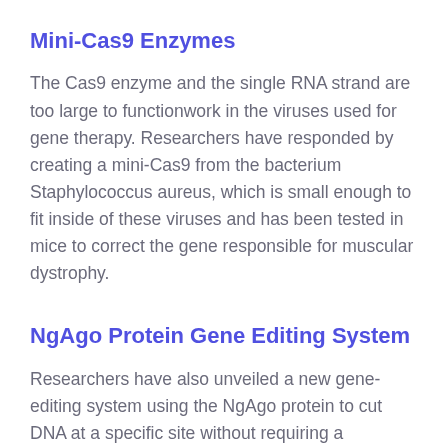Mini-Cas9 Enzymes
The Cas9 enzyme and the single RNA strand are too large to functionwork in the viruses used for gene therapy. Researchers have responded by creating a mini-Cas9 from the bacterium Staphylococcus aureus, which is small enough to fit inside of these viruses and has been tested in mice to correct the gene responsible for muscular dystrophy.
NgAgo Protein Gene Editing System
Researchers have also unveiled a new gene-editing system using the NgAgo protein to cut DNA at a specific site without requiring a